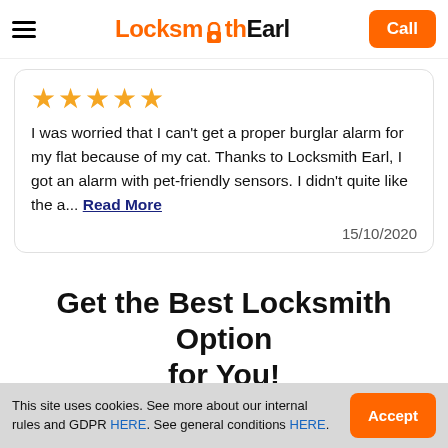Locksmith Earl | Call
★★★★★
I was worried that I can't get a proper burglar alarm for my flat because of my cat. Thanks to Locksmith Earl, I got an alarm with pet-friendly sensors. I didn't quite like the a... Read More
15/10/2020
Get the Best Locksmith Option for You!
This site uses cookies. See more about our internal rules and GDPR HERE. See general conditions HERE.